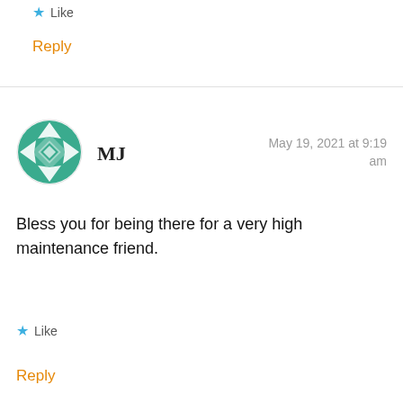★ Like
Reply
MJ
May 19, 2021 at 9:19 am
Bless you for being there for a very high maintenance friend.
★ Like
Reply